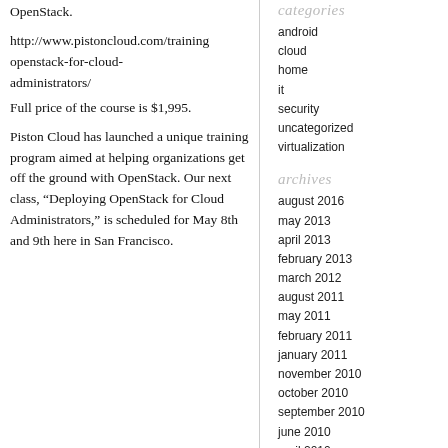OpenStack.
http://www.pistoncloud.com/training/openstack-for-cloud-administrators/
Full price of the course is $1,995.
Piston Cloud has launched a unique training program aimed at helping organizations get off the ground with OpenStack. Our next class, “Deploying OpenStack for Cloud Administrators,” is scheduled for May 8th and 9th here in San Francisco.
categories
android
cloud
home
it
security
uncategorized
virtualization
archives
august 2016
may 2013
april 2013
february 2013
march 2012
august 2011
may 2011
february 2011
january 2011
november 2010
october 2010
september 2010
june 2010
april 2010
march 2010
january 2010
october 2009
august 2009
june 2009
may 2009
april 2009